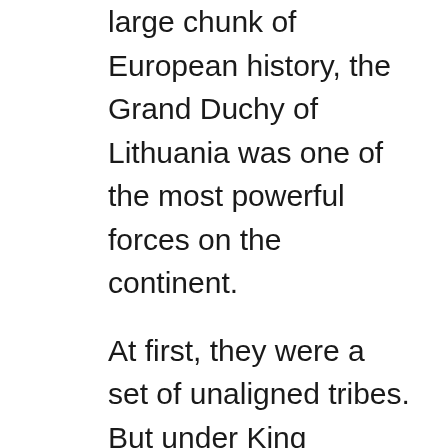large chunk of European history, the Grand Duchy of Lithuania was one of the most powerful forces on the continent.
At first, they were a set of unaligned tribes. But under King Mindaugas, the various Lithuanian tribes united as a single nation.
The Lithuanians spread their influence across Eastern Europe, conquering territories all the way from the Baltics to the Black Sea, including large chunks of modern-day Ukraine and Russia.
Lithuania also made a powerful alliance with Poland but only under the condition that the grand duke of Lithuania convert to Catholicism. When the grand duke acquiesced, the two countries united under a single ruler. With that rule coming from Lithuania, the grand duchy increased its influence.